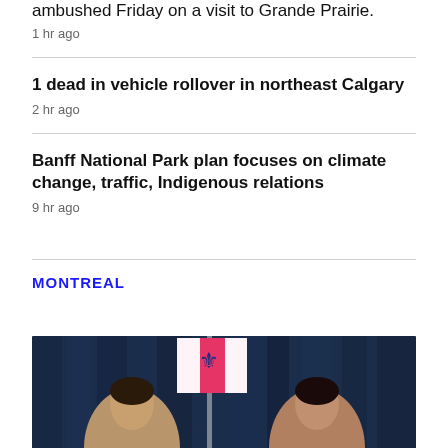ambushed Friday on a visit to Grande Prairie.
1 hr ago
1 dead in vehicle rollover in northeast Calgary
2 hr ago
Banff National Park plan focuses on climate change, traffic, Indigenous relations
9 hr ago
MONTREAL
[Figure (photo): Two people standing in front of a blue curtain with a Quebec flag in the background]